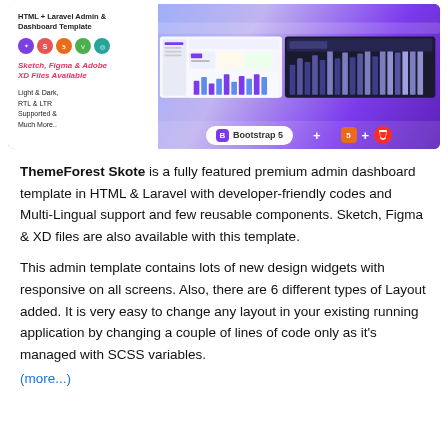[Figure (screenshot): Screenshot of ThemeForest Skote HTML & Laravel Admin Dashboard Template showing icons (Sketch, Sass, HTML5, Vue, other), text 'Sketch, Figma & Adobe XD Files Available', 'Light & Dark, RTL & LTR Supported & Much More..', dashboard UI mockups, and a bottom bar with Bootstrap 5, HTML5, and Laravel logos.]
ThemeForest Skote is a fully featured premium admin dashboard template in HTML & Laravel with developer-friendly codes and Multi-Lingual support and few reusable components. Sketch, Figma & XD files are also available with this template.
This admin template contains lots of new design widgets with responsive on all screens. Also, there are 6 different types of Layout added. It is very easy to change any layout in your existing running application by changing a couple of lines of code only as it's managed with SCSS variables.
(more...)